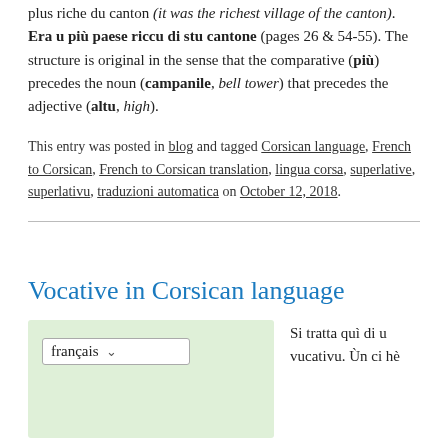plus riche du canton (it was the richest village of the canton). Era u più paese riccu di stu cantone (pages 26 & 54-55). The structure is original in the sense that the comparative (più) precedes the noun (campanile, bell tower) that precedes the adjective (altu, high).
This entry was posted in blog and tagged Corsican language, French to Corsican, French to Corsican translation, lingua corsa, superlative, superlativu, traduzioni automatica on October 12, 2018.
Vocative in Corsican language
[Figure (screenshot): A language selector widget showing 'français' with a dropdown arrow on a light green background]
Si tratta quì di u vucativu. Ùn ci hè